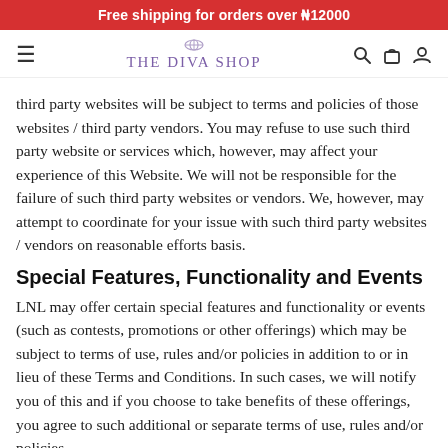Free shipping for orders over ₦12000
[Figure (logo): The Diva Shop logo with navigation icons (hamburger menu, search, bag, user)]
third party websites will be subject to terms and policies of those websites / third party vendors. You may refuse to use such third party website or services which, however, may affect your experience of this Website. We will not be responsible for the failure of such third party websites or vendors. We, however, may attempt to coordinate for your issue with such third party websites / vendors on reasonable efforts basis.
Special Features, Functionality and Events
LNL may offer certain special features and functionality or events (such as contests, promotions or other offerings) which may be subject to terms of use, rules and/or policies in addition to or in lieu of these Terms and Conditions. In such cases, we will notify you of this and if you choose to take benefits of these offerings, you agree to such additional or separate terms of use, rules and/or policies.